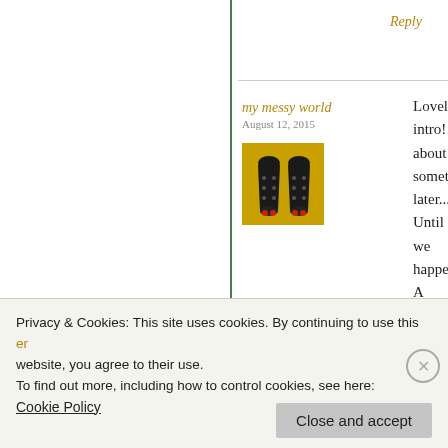Reply
my messy world
August 12, 2015
[Figure (photo): Avatar image showing two black beetle-like figures on a yellow background]
Lovely intro!!! ... about something... later... Until we... happening!!! A... done that you'r... love, just trying... 🙂 And yes – p... jumping or suc... anymore ;-)... T... means so much...
Privacy & Cookies: This site uses cookies. By continuing to use this website, you agree to their use.
To find out more, including how to control cookies, see here:
Cookie Policy
Close and accept